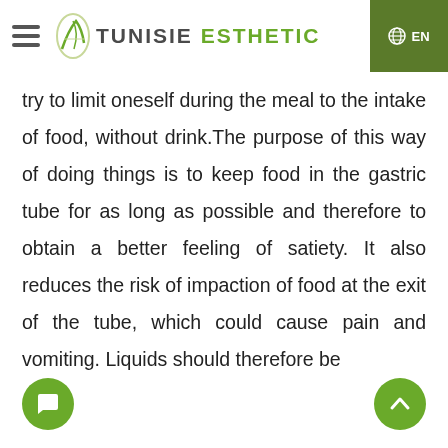TUNISIE ESTHETIC | EN
try to limit oneself during the meal to the intake of food, without drink.The purpose of this way of doing things is to keep food in the gastric tube for as long as possible and therefore to obtain a better feeling of satiety. It also reduces the risk of impaction of food at the exit of the tube, which could cause pain and vomiting. Liquids should therefore be